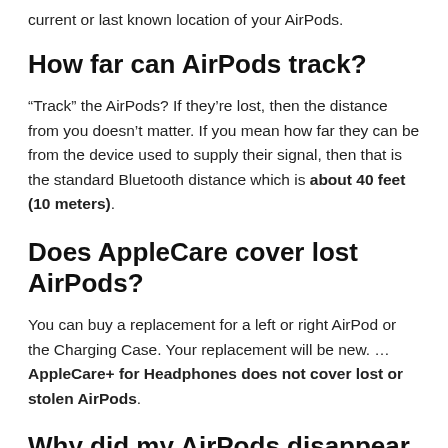current or last known location of your AirPods.
How far can AirPods track?
“Track” the AirPods? If they’re lost, then the distance from you doesn’t matter. If you mean how far they can be from the device used to supply their signal, then that is the standard Bluetooth distance which is about 40 feet (10 meters).
Does AppleCare cover lost AirPods?
You can buy a replacement for a left or right AirPod or the Charging Case. Your replacement will be new. … AppleCare+ for Headphones does not cover lost or stolen AirPods.
Why did my AirPods disappear